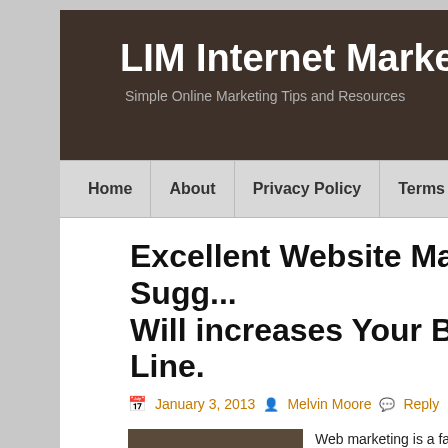LIM Internet Marketing
Simple Online Marketing Tips and Resources
Home | About | Privacy Policy | Terms Of Use | Disclaimer | Cont...
Excellent Website Marketing Suggestions That Will increases Your Bottom Line.
January 3, 2013  Melvin Moore  Reply
[Figure (photo): Photo of two smiling women close together]
Web marketing is a fas... that tactics can be tied... puzzle; your business... promotion in thousand...